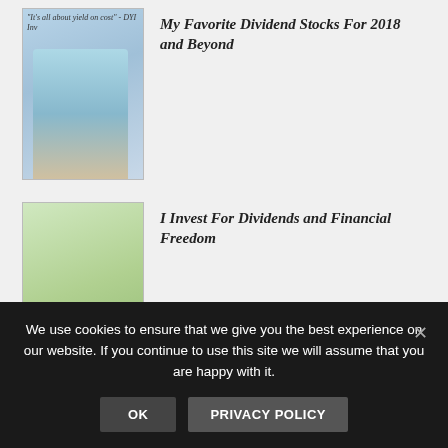[Figure (photo): Thumbnail image of a man in a blue shirt with text overlay quoting 'It's all about yield on cost']
My Favorite Dividend Stocks For 2018 and Beyond
[Figure (photo): Thumbnail image of a man holding a paper with text overlay reading 'this out. The d checks.']
I Invest For Dividends and Financial Freedom
[Figure (photo): Partial thumbnail image at the bottom of the page]
We use cookies to ensure that we give you the best experience on our website. If you continue to use this site we will assume that you are happy with it.
OK   PRIVACY POLICY